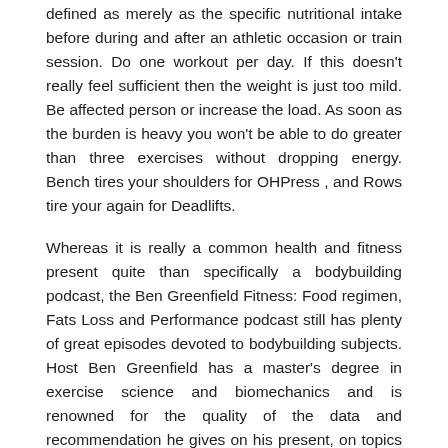defined as merely as the specific nutritional intake before during and after an athletic occasion or train session. Do one workout per day. If this doesn't really feel sufficient then the weight is just too mild. Be affected person or increase the load. As soon as the burden is heavy you won't be able to do greater than three exercises without dropping energy. Bench tires your shoulders for OHPress , and Rows tire your again for Deadlifts.
Whereas it is really a common health and fitness present quite than specifically a bodybuilding podcast, the Ben Greenfield Fitness: Food regimen, Fats Loss and Performance podcast still has plenty of great episodes devoted to bodybuilding subjects. Host Ben Greenfield has a master's degree in exercise science and biomechanics and is renowned for the quality of the data and recommendation he gives on his present, on topics like fixing your soiled genes to the unintended effects of taking too much creatine.
Upon coming into the gym it is crucial to have a transparent lower bodybuilding routine plan of motion. You need to know exactly what workout routines you will perform, how a lot